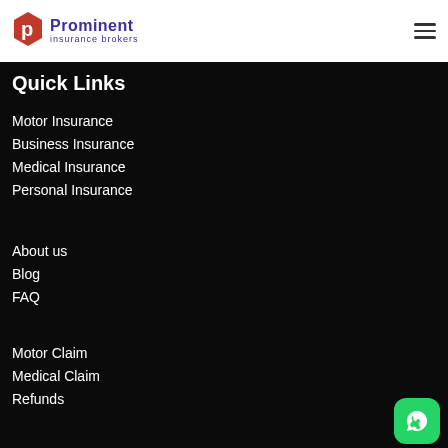Prominent insurance brokers
Quick Links
Motor Insurance
Business Insurance
Medical Insurance
Personal Insurance
About us
Blog
FAQ
Motor Claim
Medical Claim
Refunds
[Figure (logo): WhatsApp contact button, green rounded square with phone/chat icon]